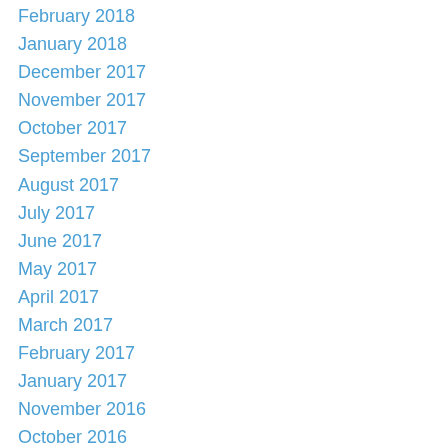February 2018
January 2018
December 2017
November 2017
October 2017
September 2017
August 2017
July 2017
June 2017
May 2017
April 2017
March 2017
February 2017
January 2017
November 2016
October 2016
September 2016
August 2016
July 2016
June 2016